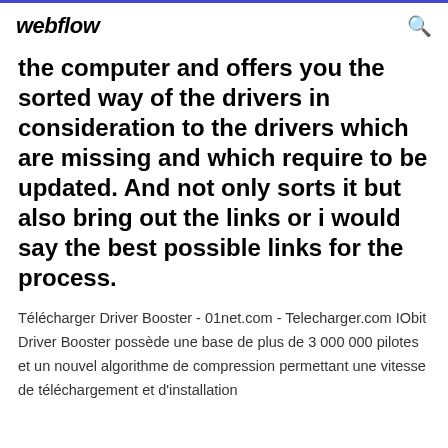webflow
the computer and offers you the sorted way of the drivers in consideration to the drivers which are missing and which require to be updated. And not only sorts it but also bring out the links or i would say the best possible links for the process.
Télécharger Driver Booster - 01net.com - Telecharger.com IObit Driver Booster possède une base de plus de 3 000 000 pilotes et un nouvel algorithme de compression permettant une vitesse de téléchargement et d'installation